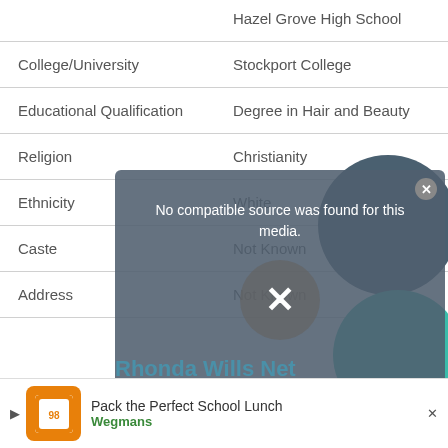| Field | Value |
| --- | --- |
|  | Hazel Grove High School |
| College/University | Stockport College |
| Educational Qualification | Degree in Hair and Beauty |
| Religion | Christianity |
| Ethnicity | White |
| Caste | Not Known |
| Address | Not Known |
[Figure (screenshot): Video media error overlay: 'No compatible source was found for this media.' with close button and X dismiss button, overlaid on page content. Decorative circles visible. Watermark text 'Rhonda Wills Net Worth, Biography Career' visible beneath overlay.]
Pack the Perfect School Lunch Wegmans